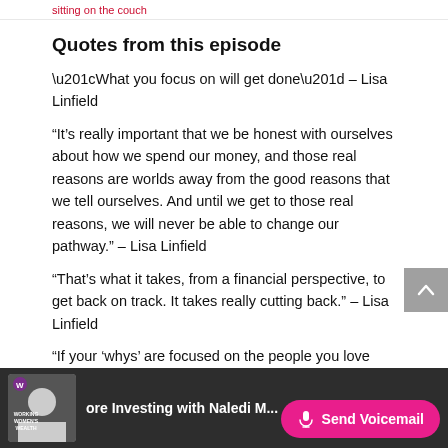sitting on the couch
Quotes from this episode
“What you focus on will get done” – Lisa Linfield
“It’s really important that we be honest with ourselves about how we spend our money, and those real reasons are worlds away from the good reasons that we tell ourselves. And until we get to those real reasons, we will never be able to change our pathway.” – Lisa Linfield
“That’s what it takes, from a financial perspective, to get back on track. It takes really cutting back.” – Lisa Linfield
“If your ‘whys’ are focused on the people you love
ore Investing with Naledi ... Send Voicemail